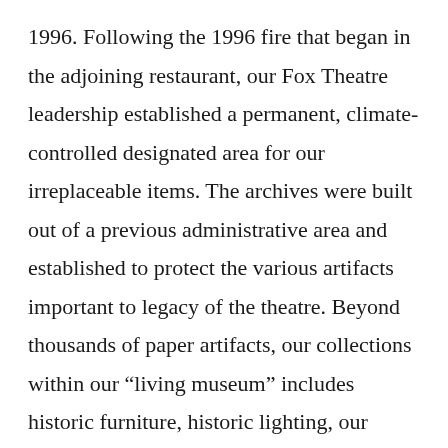1996. Following the 1996 fire that began in the adjoining restaurant, our Fox Theatre leadership established a permanent, climate-controlled designated area for our irreplaceable items. The archives were built out of a previous administrative area and established to protect the various artifacts important to legacy of the theatre. Beyond thousands of paper artifacts, our collections within our “living museum” includes historic furniture, historic lighting, our Moller “Mighty Mo” organ, and other artwork including architectural features. The Fox Theatre funds the ongoing care of the collections through a restoration fee added to all ticketed, public events. Every time one of our patrons join us at the Fox,